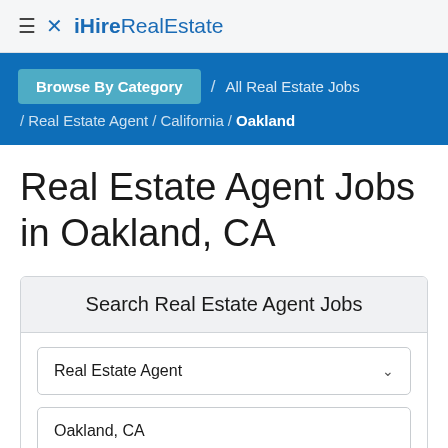≡ ✕ iHire RealEstate
Browse By Category / All Real Estate Jobs / Real Estate Agent / California / Oakland
Real Estate Agent Jobs in Oakland, CA
Search Real Estate Agent Jobs
Real Estate Agent
Oakland, CA
Search